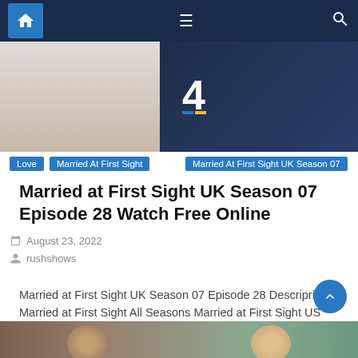Navigation bar with home, menu, and search icons
[Figure (photo): Hero image showing a couple, with Channel 4 logo visible]
Love
Married At First Sight
Married At First Sight UK Season 07
Married at First Sight UK Season 07 Episode 28 Watch Free Online
August 23, 2022
rushshows
Married at First Sight UK Season 07 Episode 28 Descriprion Married at First Sight All Seasons Married at First Sight US Season 15 Married at First Sight US Season 14 Married at First Sight US Season 13 Married at First Sight AU Season 09 Married at First Sight UK Season 06 Married at First Sight [...]
[Figure (photo): Bottom thumbnail strip showing two people]